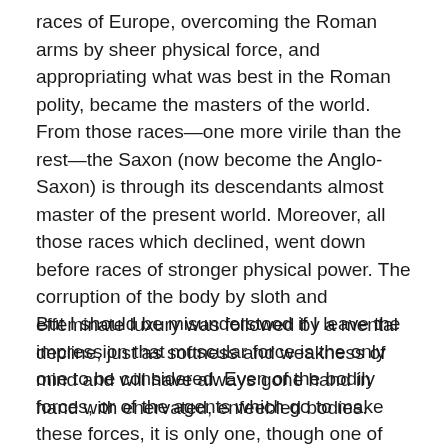races of Europe, overcoming the Roman arms by sheer physical force, and appropriating what was best in the Roman polity, became the masters of the world. From those races—one more virile than the rest—the Saxon (now become the Anglo-Saxon) is through its descendants almost master of the present world. Moreover, all those races which declined, went down before races of stronger physical power. The corruption of the body by sloth and effeminate luxury was followed by a mental decline, just as softness and weakness of mind and will have always gone hand in hand with enervated, enfeebled bodies.
But I should be misunderstood if I leave the impression that muscular force is the only one to be considered. Even of the bodily forces, or of the agents which go to make these forces, it is only one, though one of the most important. Nutrition must be attended to. Without perfect nutrition the best muscular force is impossible. If nutrition